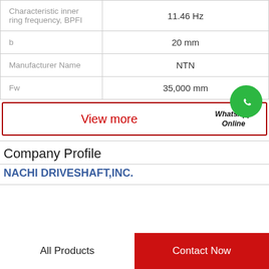| Property | Value |
| --- | --- |
| Characteristic inner ring frequency, BPFI | 11.46 Hz |
| b | 20 mm |
| Manufacturer Name | NTN |
| Fw | 35,000 mm |
View more | WhatsApp Online
Company Profile
NACHI DRIVESHAFT,INC.
All Products
Contact Now